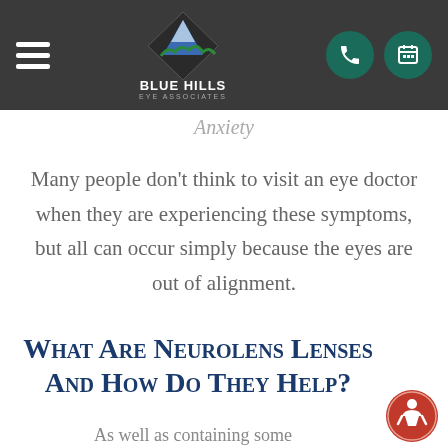[Figure (logo): Blue Hills Eye Associates logo with diamond shape and mountain/bird imagery, text 'BLUE HILLS EYE ASSOCIATES']
Anxiety
Many people don't think to visit an eye doctor when they are experiencing these symptoms, but all can occur simply because the eyes are out of alignment.
What Are Neurolens Lenses And How Do They Help?
As well as containing some common prescription...